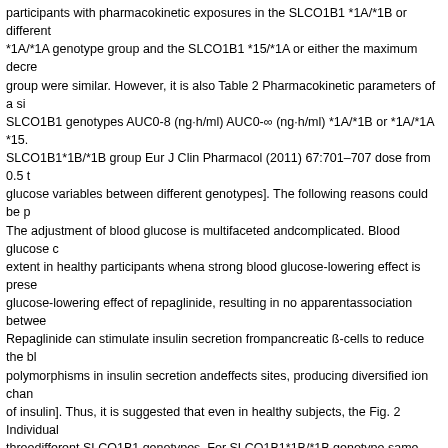participants with pharmacokinetic exposures in the SLCO1B1 *1A/*1B or different *1A/*1A genotype group and the SLCO1B1 *15/*1A or either the maximum decrease group were similar. However, it is also Table 2 Pharmacokinetic parameters of a si SLCO1B1 genotypes AUC0-8 (ng·h/ml) AUC0-∞ (ng·h/ml) *1A/*1B or *1A/*1A *15. SLCO1B1*1B/*1B group Eur J Clin Pharmacol (2011) 67:701–707 dose from 0.5 glucose variables between different genotypes]. The following reasons could be p The adjustment of blood glucose is multifaceted andcomplicated. Blood glucose c extent in healthy participants whena strong blood glucose-lowering effect is prese glucose-lowering effect of repaglinide, resulting in no apparentassociation betwee Repaglinide can stimulate insulin secretion frompancreatic ß-cells to reduce the bl polymorphisms in insulin secretion andeffects sites, producing diversified ion chan of insulin]. Thus, it is suggested that even in healthy subjects, the Fig. 2 Individual threedifferent SLCO1B1 genotypes. For SLCO1B1*1B/*1B genotype same amou n=4; for SLCO1B1*1A/*1B or *1A/*1A genotype group, n=11; resulting in various b SLCO1B1*15/*1A or *5/*1A genotype group, n=7. Some values detection of plasm close that they overlapped. #1: P=0.028 SLCO1B1*1A/*1B or tration could be a be vs. SLCO1B1*1B/*1B genotype. #2: P=0.032SLCO1B1 *15/*1A or *5/*1A genotyp of the c.388A> G and c.521 T>C variants are about 55–89% and 0–22%, respecti could affect the East Asians [, ]. And the widespread polymorphisms of pharmacol SLCO1B1 make them nonnegligible factors causing the emptying and intestinal ab interindividual and interracial variability in the clinical Pharmacodynamic findings v repaglinide. In the Finnish population, dose of 2 mg, the AUC0-∞ of repaglinide di determinant significantly correlate with either the maximum decrease of interindiv